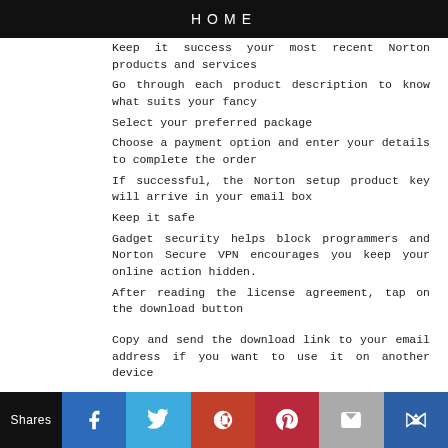HOME
Keep it success your most recent Norton products and services
Go through each product description to know what suits your fancy
Select your preferred package
Choose a payment option and enter your details to complete the order
If successful, the Norton setup product key will arrive in your email box
Keep it safe
Gadget security helps block programmers and Norton Secure VPN encourages you keep your online action hidden.
After reading the license agreement, tap on the download button
Copy and send the download link to your email address if you want to use it on another device
Wait for the download to complete; then, open the file on your device, follow the screen prompt to
Shares | Facebook | Twitter | Google+ | Pinterest | Mail | Crown